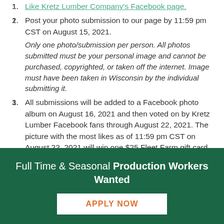Like Kretz Lumber Company's Facebook page.
Post your photo submission to our page by 11:59 pm CST on August 15, 2021. Only one photo/submission per person. All photos submitted must be your personal image and cannot be purchased, copyrighted, or taken off the internet. Image must have been taken in Wisconsin by the individual submitting it.
All submissions will be added to a Facebook photo album on August 16, 2021 and then voted on by Kretz Lumber Facebook fans through August 22, 2021. The picture with the most likes as of 11:59 pm CST on August 22, 2021 will win one $25 Fleet Farm gift card.
Full Time & Seasonal Production Workers Wanted
APPLY NOW